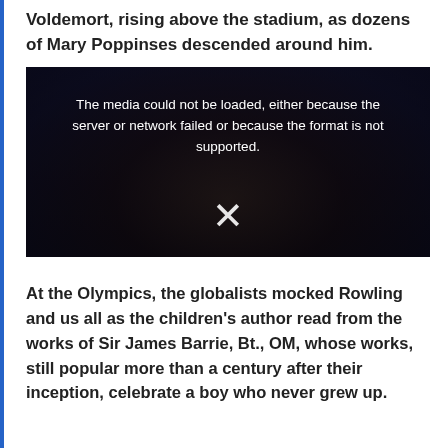Voldemort, rising above the stadium, as dozens of Mary Poppinses descended around him.
[Figure (screenshot): A dark stadium scene showing an aerial view of an Olympic opening ceremony with the message: 'The media could not be loaded, either because the server or network failed or because the format is not supported.' and a large X symbol overlaid.]
At the Olympics, the globalists mocked Rowling and us all as the children's author read from the works of Sir James Barrie, Bt., OM, whose works, still popular more than a century after their inception, celebrate a boy who never grew up.